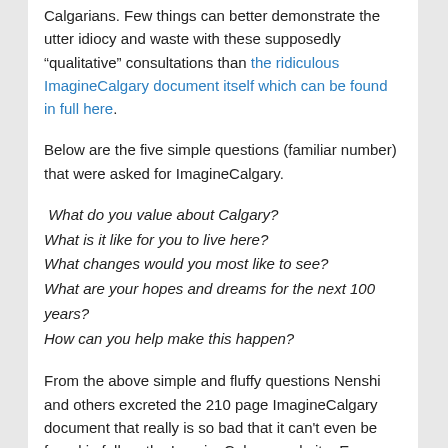Calgarians. Few things can better demonstrate the utter idiocy and waste with these supposedly “qualitative” consultations than the ridiculous ImagineCalgary document itself which can be found in full here.
Below are the five simple questions (familiar number) that were asked for ImagineCalgary.
What do you value about Calgary?
What is it like for you to live here?
What changes would you most like to see?
What are your hopes and dreams for the next 100 years?
How can you help make this happen?
From the above simple and fluffy questions Nenshi and others excreted the 210 page ImagineCalgary document that really is so bad that it can't even be found in full on the ImagineCalgary website. Even those employed in promoting this mess are ashamed of the product of this exercise. Shouldn’t such brilliance be front and center on their site otherwise? Alas, it is hidden deeply in the bowels